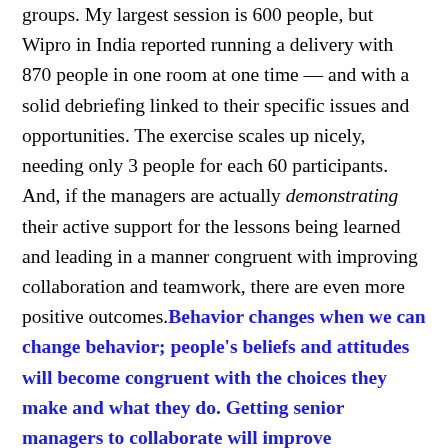groups. My largest session is 600 people, but Wipro in India reported running a delivery with 870 people in one room at one time — and with a solid debriefing linked to their specific issues and opportunities. The exercise scales up nicely, needing only 3 people for each 60 participants. And, if the managers are actually demonstrating their active support for the lessons being learned and leading in a manner congruent with improving collaboration and teamwork, there are even more positive outcomes. Behavior changes when we can change behavior; people's beliefs and attitudes will become congruent with the choices they make and what they do. Getting senior managers to collaborate will improve collaboration.